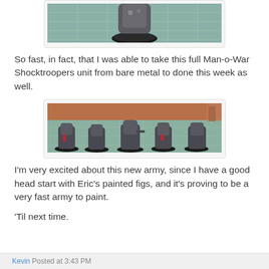[Figure (photo): Partial photo of a painted miniature figure on a black base, on a teal cutting mat background. Top portion cropped.]
So fast, in fact, that I was able to take this full Man-o-War Shocktroopers unit from bare metal to done this week as well.
[Figure (photo): Photo of a group of painted Man-o-War Shocktroopers miniatures on a teal cutting mat with orange background shelving.]
I'm very excited about this new army, since I have a good head start with Eric's painted figs, and it's proving to be a very fast army to paint.
'Til next time.
Kevin Posted at 3:43 PM